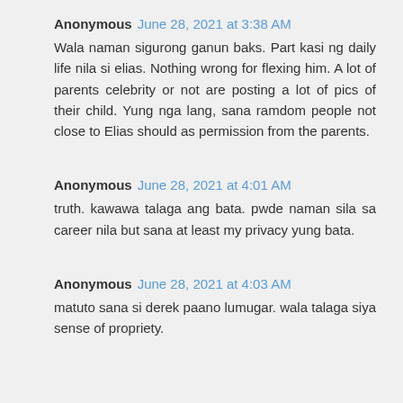Anonymous June 28, 2021 at 3:38 AM
Wala naman sigurong ganun baks. Part kasi ng daily life nila si elias. Nothing wrong for flexing him. A lot of parents celebrity or not are posting a lot of pics of their child. Yung nga lang, sana ramdom people not close to Elias should as permission from the parents.
Anonymous June 28, 2021 at 4:01 AM
truth. kawawa talaga ang bata. pwde naman sila sa career nila but sana at least my privacy yung bata.
Anonymous June 28, 2021 at 4:03 AM
matuto sana si derek paano lumugar. wala talaga siya sense of propriety.